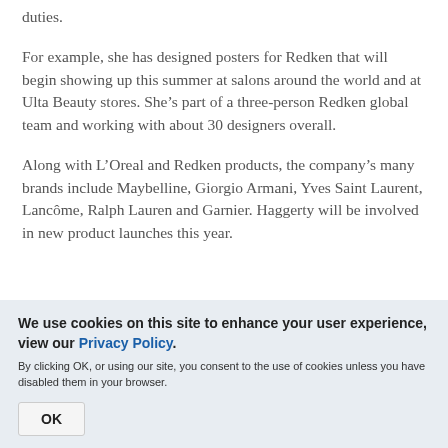duties.
For example, she has designed posters for Redken that will begin showing up this summer at salons around the world and at Ulta Beauty stores. She’s part of a three-person Redken global team and working with about 30 designers overall.
Along with L’Oreal and Redken products, the company’s many brands include Maybelline, Giorgio Armani, Yves Saint Laurent, Lancôme, Ralph Lauren and Garnier. Haggerty will be involved in new product launches this year.
We use cookies on this site to enhance your user experience, view our Privacy Policy.
By clicking OK, or using our site, you consent to the use of cookies unless you have disabled them in your browser.
OK